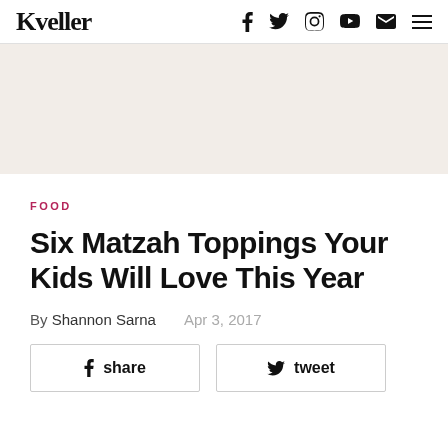Kveller
[Figure (other): Advertisement banner area with light beige background]
FOOD
Six Matzah Toppings Your Kids Will Love This Year
By Shannon Sarna   Apr 3, 2017
share   tweet